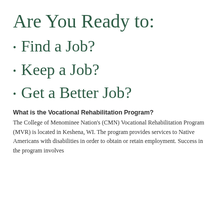Are You Ready to:
Find a Job?
Keep a Job?
Get a Better Job?
What is the Vocational Rehabilitation Program?
The College of Menominee Nation's (CMN) Vocational Rehabilitation Program (MVR) is located in Keshena, WI. The program provides services to Native Americans with disabilities in order to obtain or retain employment. Success in the program involves